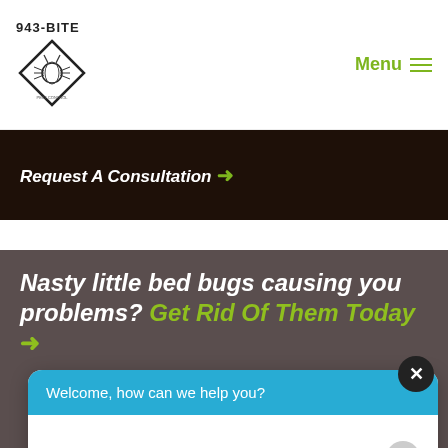943-BITE
Menu
Request A Consultation →
Nasty little bed bugs causing you problems? Get Rid Of Them Today →
Welcome, how can we help you?
Write your message...